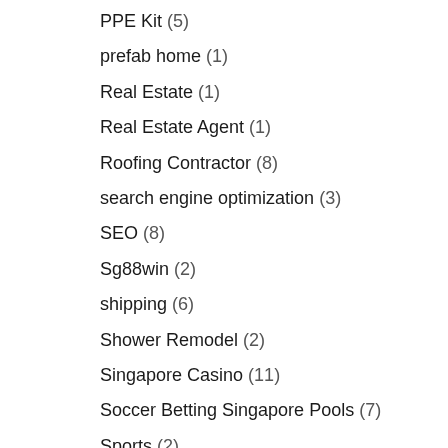PPE Kit (5)
prefab home (1)
Real Estate (1)
Real Estate Agent (1)
Roofing Contractor (8)
search engine optimization (3)
SEO (8)
Sg88win (2)
shipping (6)
Shower Remodel (2)
Singapore Casino (11)
Soccer Betting Singapore Pools (7)
Sports (2)